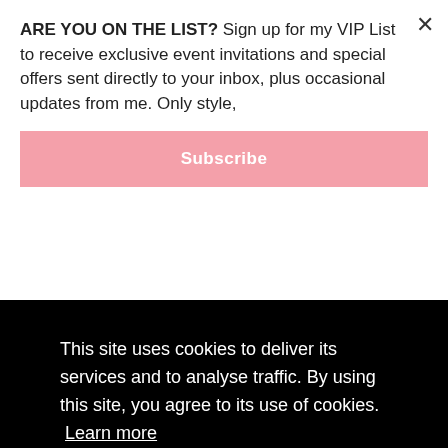[Figure (screenshot): VIP email signup popup overlay with pink Subscribe button and close X button. Text reads: ARE YOU ON THE LIST? Sign up for my VIP List to receive exclusive event invitations and special offers sent directly to your inbox, plus occasional updates from me. Only style,]
blouse while sipping the perfect cup of coffee.
1. Vest / Who What Wear Sweater Dress / INC Booties
2. [partially obscured] ...yamuto [partially obscured]
[partially obscured] ...lothing, s... ...ke sure t...
[Figure (screenshot): Cookie consent banner (black background): This site uses cookies to deliver its services and to analyse traffic. By using this site, you agree to its use of cookies. Learn more [OK button]]
I... [partially obscured] ...ed by S... ...nts on Instagram with #FallForStarbucks.